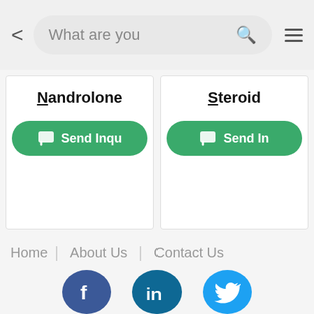[Figure (screenshot): Mobile website search bar with back arrow, search field showing 'What are you', search icon, and hamburger menu]
Nandrolone
Steroid
Send Inqu
Send In
Home
About Us
Contact Us
[Figure (logo): Facebook logo circle]
[Figure (logo): LinkedIn logo circle]
[Figure (logo): Twitter logo circle]